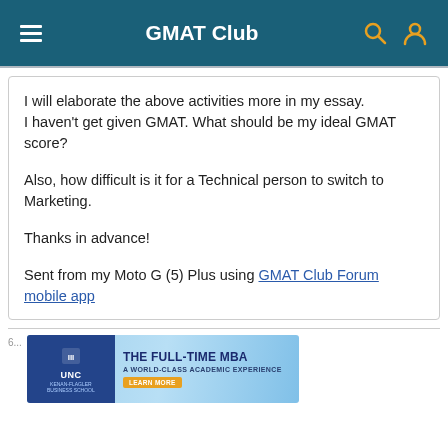GMAT Club
I will elaborate the above activities more in my essay.
I haven't get given GMAT. What should be my ideal GMAT score?

Also, how difficult is it for a Technical person to switch to Marketing.

Thanks in advance!

Sent from my Moto G (5) Plus using GMAT Club Forum mobile app
[Figure (screenshot): UNC Kenan-Flagler Business School advertisement banner: 'THE FULL-TIME MBA — A WORLD-CLASS ACADEMIC EXPERIENCE' with a 'LEARN MORE' button]